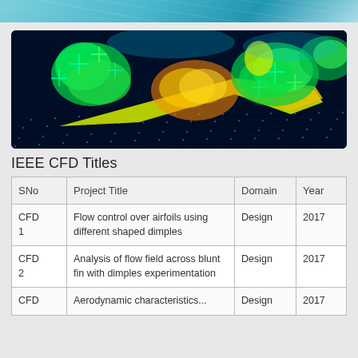[Figure (photo): CFD simulation visualization showing airflow patterns around aircraft/wing surfaces with colorful heat-map visualization (green, yellow, orange colors) on a dark navy background with grid mesh.]
IEEE CFD Titles
| SNo | Project Title | Domain | Year |
| --- | --- | --- | --- |
| CFD 1 | Flow control over airfoils using different shaped dimples | Design | 2017 |
| CFD 2 | Analysis of flow field across blunt fin with dimples experimentation | Design | 2017 |
| CFD ... | Aerodynamic characteristics... | Design | 2017 |